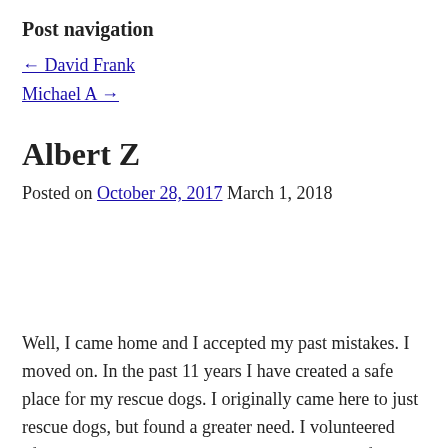Post navigation
← David Frank
Michael A →
Albert Z
Posted on October 28, 2017 March 1, 2018
Well, I came home and I accepted my past mistakes. I moved on. In the past 11 years I have created a safe place for my rescue dogs. I originally came here to just rescue dogs, but found a greater need. I volunteered after Katrina and helped gut and rebuild homes for people. I helped restore the 4th district police department. I have found happiness in art and volunteer work. I looked for the positive